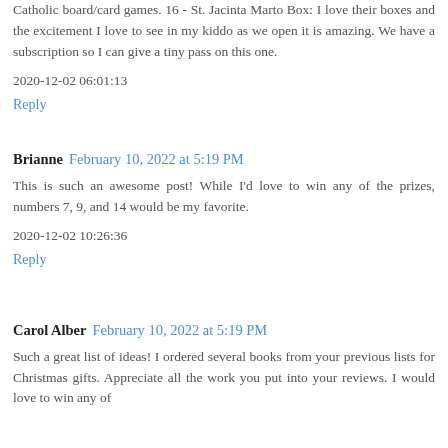Catholic board/card games. 16 - St. Jacinta Marto Box: I love their boxes and the excitement I love to see in my kiddo as we open it is amazing. We have a subscription so I can give a tiny pass on this one.
2020-12-02 06:01:13
Reply
Brianne  February 10, 2022 at 5:19 PM
This is such an awesome post! While I'd love to win any of the prizes, numbers 7, 9, and 14 would be my favorite.
2020-12-02 10:26:36
Reply
Carol Alber  February 10, 2022 at 5:19 PM
Such a great list of ideas! I ordered several books from your previous lists for Christmas gifts. Appreciate all the work you put into your reviews. I would love to win any of